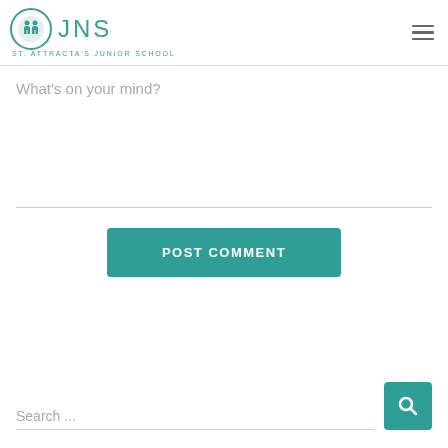JNS ST. ATTRACTA'S JUNIOR SCHOOL
What's on your mind?
POST COMMENT
Search ...